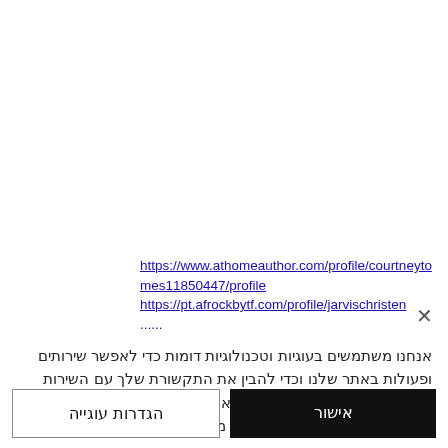https://www.athomeauthor.com/profile/courtneytomes11850447/profile https://pt.afrockbytf.com/profile/jarvischristen...
אנחנו משתמשים בעוגיות וטכנולוגיות דומות כדי לאפשר שירותים ופעולות באתר שלנו וכדי להבין את התקשורת שלך עם השירות שלנו. על ידי לחיצה על "אישור", אתה מסכים לשימוש שלנו בטכנולוגיות כאלה לשיווק וניתוח מידע.
הגדרות עוגייה
אישור